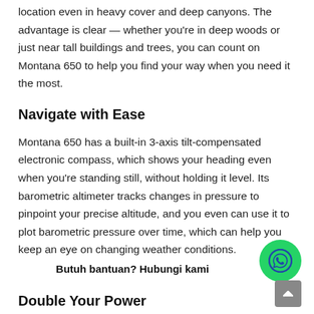location even in heavy cover and deep canyons. The advantage is clear — whether you're in deep woods or just near tall buildings and trees, you can count on Montana 650 to help you find your way when you need it the most.
Navigate with Ease
Montana 650 has a built-in 3-axis tilt-compensated electronic compass, which shows your heading even when you're standing still, without holding it level. Its barometric altimeter tracks changes in pressure to pinpoint your precise altitude, and you even can use it to plot barometric pressure over time, which can help you keep an eye on changing weather conditions.
Butuh bantuan? Hubungi kami
Double Your Power